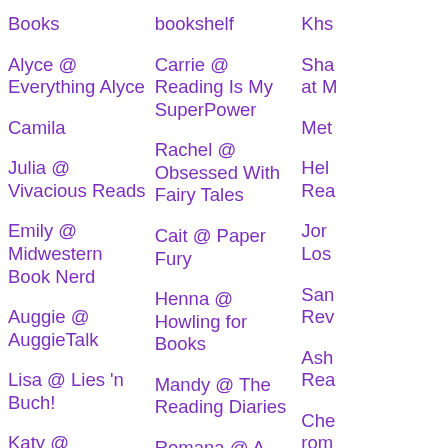Books
Alyce @ Everything Alyce
Camila
Julia @ Vivacious Reads
Emily @ Midwestern Book Nerd
Auggie @ AuggieTalk
Lisa @ Lies 'n Buch!
Katy @ wildeonmyside
Michele @ Wrecked My Eyes Reading
Jolien @ The Fictional Reader
Emma @ Awkwordly
bookshelf
Carrie @ Reading Is My SuperPower
Rachel @ Obsessed With Fairy Tales
Cait @ Paper Fury
Henna @ Howling for Books
Mandy @ The Reading Diaries
Romana @ A Book Nerd
Kelly @ Kelly's Rambles
Icebreaker694
Tara @ One More Stamp
Khs...
Sha... at M...
Met...
Hel... Rea...
Jor... Los...
San... Rev...
Ash... Rea...
Che... rom...
Ada... Rea...
Cai... Wo...
Linc...